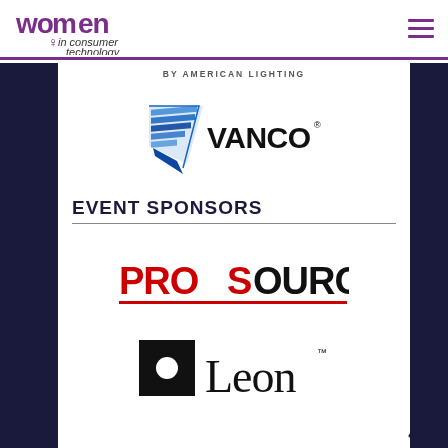Women in Consumer Technology — navigation header with logo and menu
BY AMERICAN LIGHTING
[Figure (logo): Vanco logo — blue chevron/shield shape on left with horizontal blue stripes, bold black text VANCO with registered trademark symbol]
EVENT SPONSORS
[Figure (logo): ProSource logo — red bold PRO followed by black SOURCE with red underline, all caps]
[Figure (logo): Leon logo — black square with white dot/circle on left, followed by black text 'Leon' with trademark symbol]